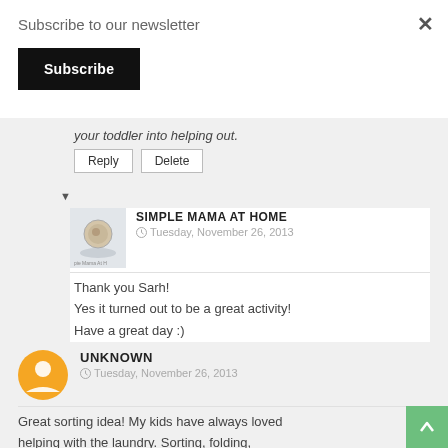Subscribe to our newsletter
Subscribe (button)
your toddler into helping out.
Reply | Delete
SIMPLE MAMA AT HOME
Tuesday, November 26, 2013
Thank you Sarh!
Yes it turned out to be a great activity!
Have a great day :)
Delete
UNKNOWN
Tuesday, November 26, 2013
Great sorting idea! My kids have always loved helping with the laundry. Sorting, folding,